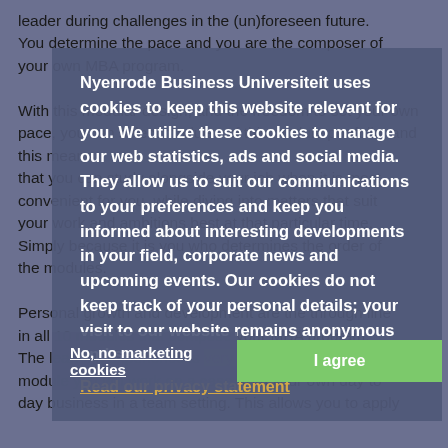leader during challenges in the (un)foreseen future. You determine the pace and you are the composer of your own MBA program. With this modular design, and the freedom to set your own pace, you can select modules of this module portfolio, and this means that you can study alongside your job when it is most convenient for you, while diving into matters that suit your work and ambitions best at that particular time. Simply because it is you who determines the order of the modules. Personal growth and development are the through line in all 10 modules that compose your MBA program. The learning experience is very practice based: in each module you will work on a case from your own day to day business in a team setting. This allows you to apply
Nyenrode Business Universiteit uses cookies to keep this website relevant for you. We utilize these cookies to manage our web statistics, ads and social media. They allow us to suit our communications to your preferences and keep you informed about interesting developments in your field, corporate news and upcoming events. Our cookies do not keep track of your personal details; your visit to our website remains anonymous and secure.

Read our privacy statement
No, no marketing cookies
I agree